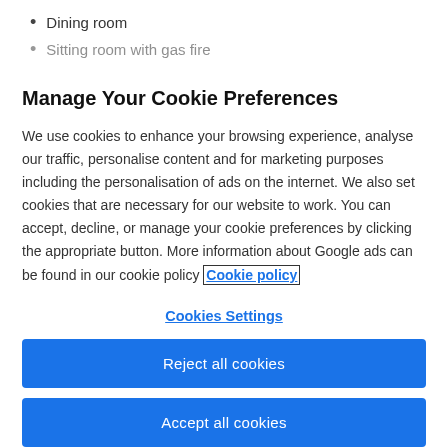Dining room
Sitting room with gas fire
Manage Your Cookie Preferences
We use cookies to enhance your browsing experience, analyse our traffic, personalise content and for marketing purposes including the personalisation of ads on the internet. We also set cookies that are necessary for our website to work. You can accept, decline, or manage your cookie preferences by clicking the appropriate button. More information about Google ads can be found in our cookie policy Cookie policy
Cookies Settings
Reject all cookies
Accept all cookies